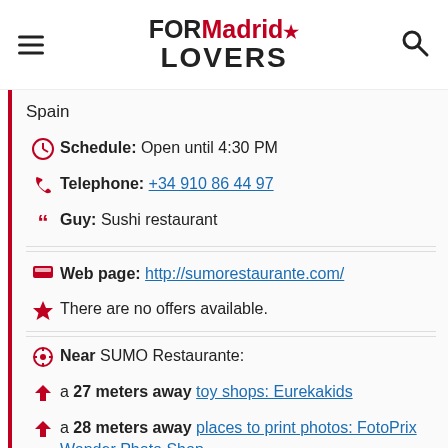FOR Madrid LOVERS
Spain
Schedule: Open until 4:30 PM
Telephone: +34 910 86 44 97
Guy: Sushi restaurant
Web page: http://sumorestaurante.com/
There are no offers available.
Near SUMO Restaurante:
a 27 meters away toy shops: Eurekakids
a 28 meters away places to print photos: FotoPrix Wonder Photo Shop
a 28 meters away analogue photography courses: FotoPrix Wonder PhotoShop